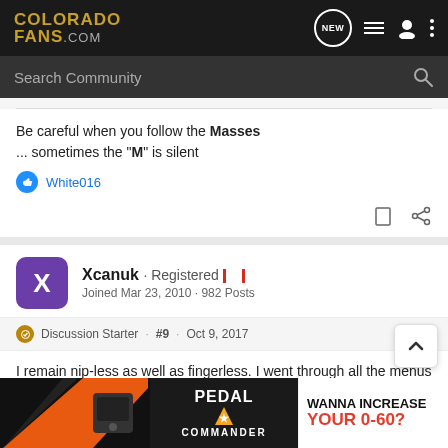COLORADO FANS.com
Search Community
Be careful when you follow the Masses
... sometimes the "M" is silent
White016
Xcanuk · Registered · Joined Mar 23, 2010 · 982 Posts
Discussion Starter · #9 · Oct 9, 2017
I remain nip-less as well as fingerless. I went through all the menus (works) as well nger/nip